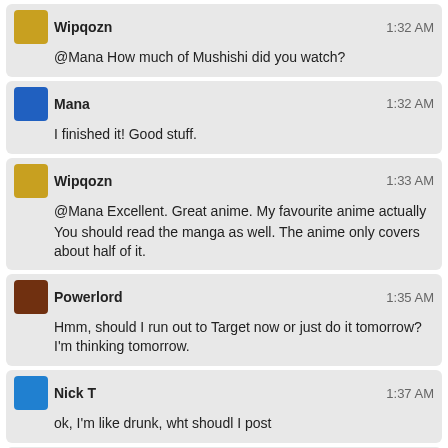Wipqozn 1:32 AM
@Mana How much of Mushishi did you watch?
Mana 1:32 AM
I finished it! Good stuff.
Wipqozn 1:33 AM
@Mana Excellent. Great anime. My favourite anime actually
You should read the manga as well. The anime only covers about half of it.
Powerlord 1:35 AM
Hmm, should I run out to Target now or just do it tomorrow? I'm thinking tomorrow.
Nick T 1:37 AM
ok, I'm like drunk, wht shoudl I post
Mana 1:37 AM
uhhhhhhhh
Wipqozn 1:38 AM
@NickT make a post about how awesome I am
Also, +10 respect points for using commas even though you're drunk
Nick T 1:38 AM
that's n5 u2estion
fjbbg
Wipqozn 1:39 AM